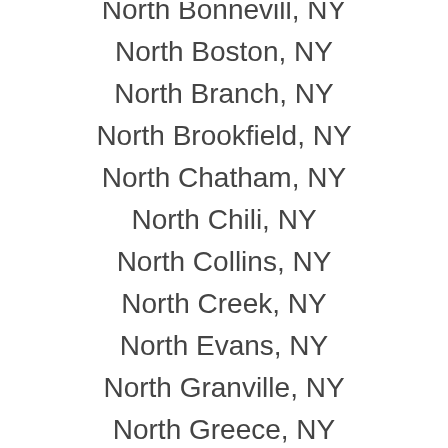North Boston, NY
North Branch, NY
North Brookfield, NY
North Chatham, NY
North Chili, NY
North Collins, NY
North Creek, NY
North Evans, NY
North Granville, NY
North Greece, NY